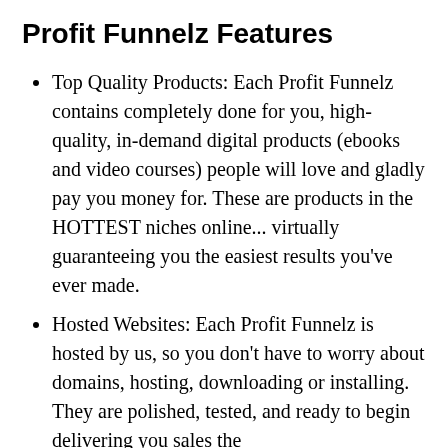Profit Funnelz Features
Top Quality Products: Each Profit Funnelz contains completely done for you, high-quality, in-demand digital products (ebooks and video courses) people will love and gladly pay you money for. These are products in the HOTTEST niches online... virtually guaranteeing you the easiest results you've ever made.
Hosted Websites: Each Profit Funnelz is hosted by us, so you don't have to worry about domains, hosting, downloading or installing. They are polished, tested, and ready to begin delivering you sales the